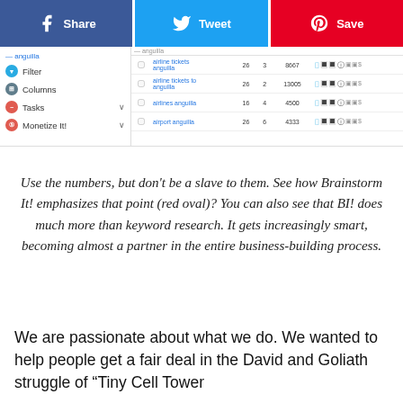[Figure (screenshot): Social share bar with Facebook (blue), Twitter (cyan), and Pinterest (red) buttons at the top, followed by a screenshot of Brainstorm It! keyword research tool showing menu items (Filter, Columns, Tasks, Monetize It!) on the left and a keyword data table on the right with rows: airline tickets anguilla (26, 3, 8667), airline tickets to anguilla (26, 2, 13005), airlines anguilla (16, 4, 4500), airport anguilla (26, 6, 4333)]
Use the numbers, but don't be a slave to them. See how Brainstorm It! emphasizes that point (red oval)? You can also see that BI! does much more than keyword research. It gets increasingly smart, becoming almost a partner in the entire business-building process.
We are passionate about what we do. We wanted to help people get a fair deal in the David and Goliath struggle of “Tiny Cell Tower